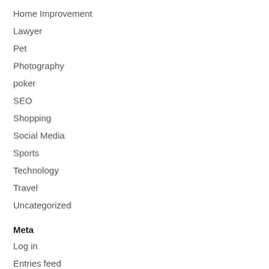Home Improvement
Lawyer
Pet
Photography
poker
SEO
Shopping
Social Media
Sports
Technology
Travel
Uncategorized
Meta
Log in
Entries feed